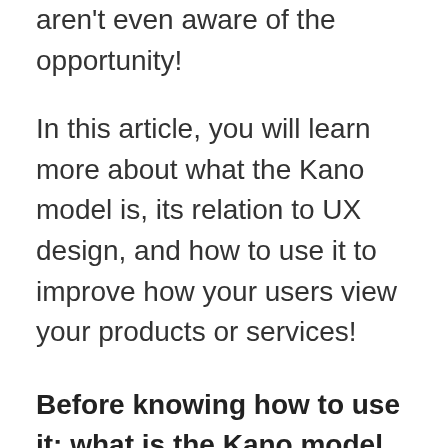aren't even aware of the opportunity!
In this article, you will learn more about what the Kano model is, its relation to UX design, and how to use it to improve how your users view your products or services!
Before knowing how to use it: what is the Kano model of customer satisfaction?
As the name implies, the Kano model focuses on improving customer satisfaction, but it also that...